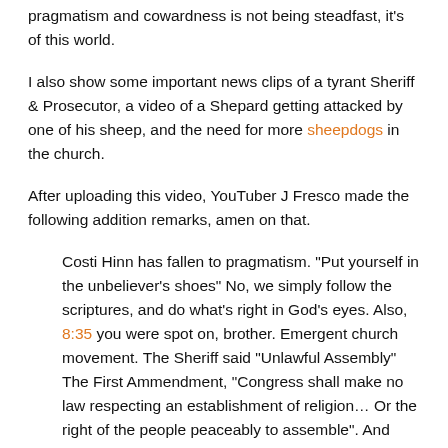pragmatism and cowardness is not being steadfast, it's of this world.
I also show some important news clips of a tyrant Sheriff & Prosecutor, a video of a Shepard getting attacked by one of his sheep, and the need for more sheepdogs in the church.
After uploading this video, YouTuber J Fresco made the following addition remarks, amen on that.
Costi Hinn has fallen to pragmatism. "Put yourself in the unbeliever's shoes" No, we simply follow the scriptures, and do what's right in God's eyes. Also, 8:35 you were spot on, brother. Emergent church movement. The Sheriff said "Unlawful Assembly" The First Ammendment, "Congress shall make no law respecting an establishment of religion… Or the right of the people peaceably to assemble". And their